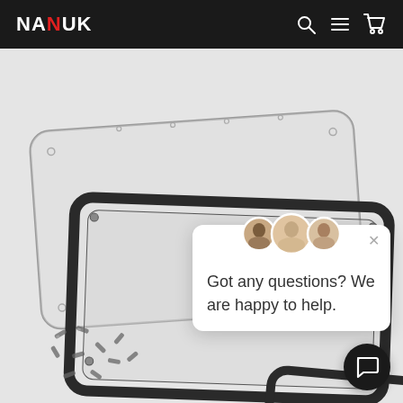NANUK
[Figure (photo): Product photo showing two NANUK panel frame inserts with rounded corners and black rubber gaskets, along with small screws scattered in the lower left, on a light gray background.]
[Figure (screenshot): Live chat popup widget with three support agent avatar photos and the message: Got any questions? We are happy to help.]
Got any questions? We are happy to help.